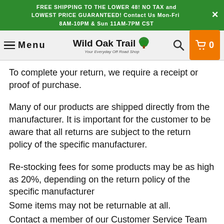FREE SHIPPING TO THE LOWER 48! NO TAX and LOWEST PRICE GUARANTEED! Contact Us Mon-Fri 8AM-10PM & Sun 11AM-7PM CST
Wild Oak Trail — Menu — Search — Cart 0
To complete your return, we require a receipt or proof of purchase.
Many of our products are shipped directly from the manufacturer. It is important for the customer to be aware that all returns are subject to the return policy of the specific manufacturer.
Re-stocking fees for some products may be as high as 20%, depending on the return policy of the specific manufacturer
Some items may not be returnable at all.
Contact a member of our Customer Service Team for details on a specific item.
*Point Zero Errors will be shown as to recovery as long as the...